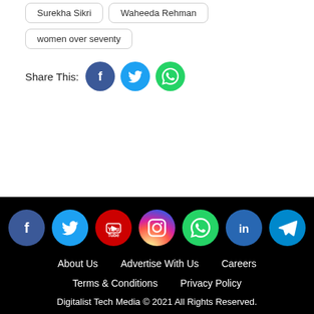Surekha Sikri
Waheeda Rehman
women over seventy
Share This:
[Figure (illustration): Social share icons: Facebook (dark blue circle), Twitter (light blue circle), WhatsApp (green circle)]
[Figure (illustration): Footer social media icons: Facebook, Twitter, YouTube, Instagram, WhatsApp, LinkedIn, Telegram]
About Us   Advertise With Us   Careers
Terms & Conditions   Privacy Policy
Digitalist Tech Media © 2021 All Rights Reserved.